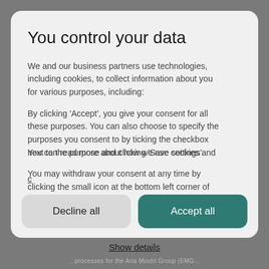You control your data
We and our business partners use technologies, including cookies, to collect information about you for various purposes, including:
By clicking ‘Accept’, you give your consent for all these purposes. You can also choose to specify the purposes you consent to by ticking the checkbox next to the purpose and clicking ‘Save settings’.
You may withdraw your consent at any time by clicking the small icon at the bottom left corner of the website.
You can read more about how we use cookies and
Decline all
Accept all
Show details
...processes for the Aria Moutri Group (EMG...